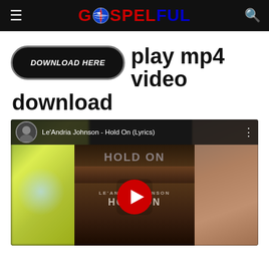GOSPELFUL
play mp4 video download
[Figure (screenshot): YouTube video embed showing Le'Andria Johnson - Hold On (Lyrics) with play button, album art showing 'LE'ANDRIA JOHNSON HOLD ON' text, blurred green and brown background panels]